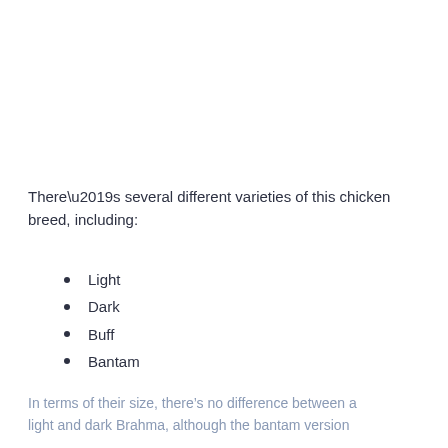There’s several different varieties of this chicken breed, including:
Light
Dark
Buff
Bantam
In terms of their size, there’s no difference between a light and dark Brahma, although the bantam version